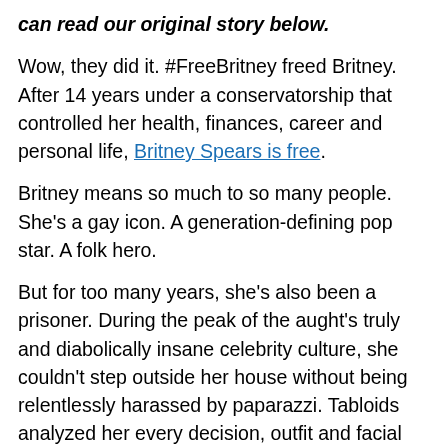can read our original story below.
Wow, they did it. #FreeBritney freed Britney. After 14 years under a conservatorship that controlled her health, finances, career and personal life, Britney Spears is free.
Britney means so much to so many people. She's a gay icon. A generation-defining pop star. A folk hero.
But for too many years, she's also been a prisoner. During the peak of the aught's truly and diabolically insane celebrity culture, she couldn't step outside her house without being relentlessly harassed by paparazzi. Tabloids analyzed her every decision, outfit and facial expression. And after suffering from mental health problems, she was placed under an extremely restrictive legal conservatorship that gave near-total control of her life to her father Jamie Spears.
It's been a long road, but as of Friday, November 12,